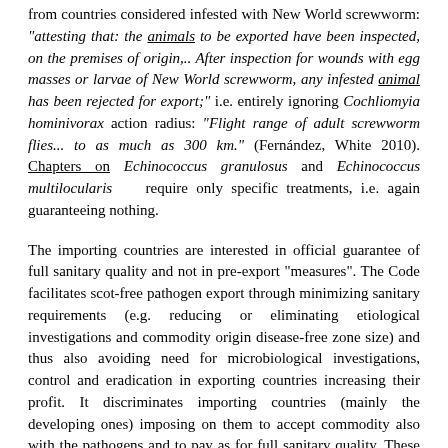from countries considered infested with New World screwworm: "attesting that: the animals to be exported have been inspected, on the premises of origin,.. After inspection for wounds with egg masses or larvae of New World screwworm, any infested animal has been rejected for export;" i.e. entirely ignoring Cochliomyia hominivorax action radius: "Flight range of adult screwworm flies... to as much as 300 km." (Fernández, White 2010). Chapters on Echinococcus granulosus and Echinococcus multilocularis require only specific treatments, i.e. again guaranteeing nothing.
The importing countries are interested in official guarantee of full sanitary quality and not in pre-export "measures". The Code facilitates scot-free pathogen export through minimizing sanitary requirements (e.g. reducing or eliminating etiological investigations and commodity origin disease-free zone size) and thus also avoiding need for microbiological investigations, control and eradication in exporting countries increasing their profit. It discriminates importing countries (mainly the developing ones) imposing on them to accept commodity also with the pathogens and to pay as for full sanitary quality. These countries cannot refuse commodities being without pathogen-free guarantee or require better protection than OIE "standard" (changing every year!) without convincing "risk